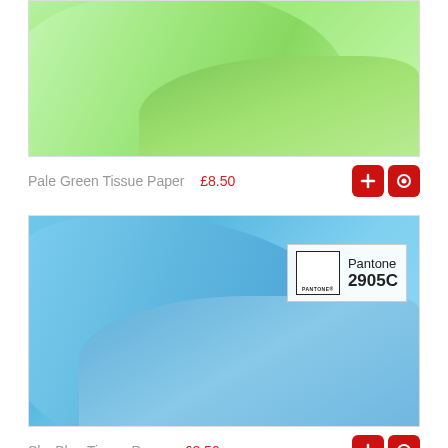[Figure (photo): Pale green tissue paper folded sheets on white background]
Pale Green Tissue Paper  £8.50
[Figure (photo): Sky blue tissue paper folded sheets on white background with Pantone 2905C color badge]
Sky Blue Tissue Paper  £8.50